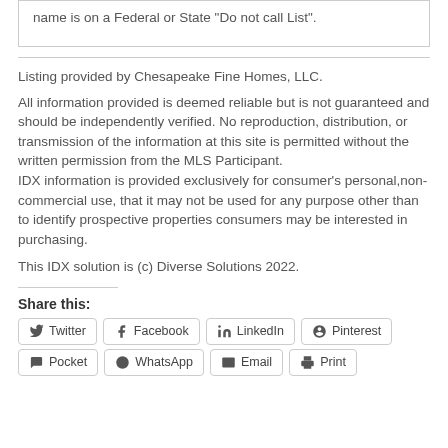name is on a Federal or State "Do not call List".
Listing provided by Chesapeake Fine Homes, LLC.
All information provided is deemed reliable but is not guaranteed and should be independently verified. No reproduction, distribution, or transmission of the information at this site is permitted without the written permission from the MLS Participant.
IDX information is provided exclusively for consumer's personal,non-commercial use, that it may not be used for any purpose other than to identify prospective properties consumers may be interested in purchasing.
This IDX solution is (c) Diverse Solutions 2022.
Share this:
Twitter | Facebook | LinkedIn | Pinterest | Pocket | WhatsApp | Email | Print